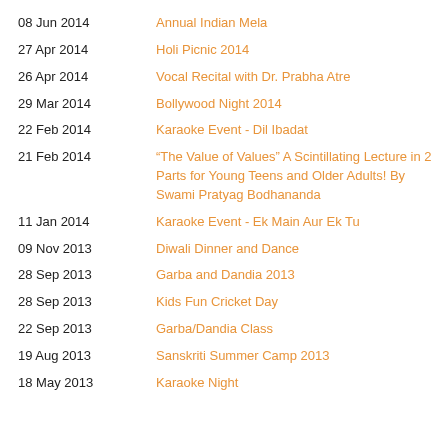08 Jun 2014 — Annual Indian Mela
27 Apr 2014 — Holi Picnic 2014
26 Apr 2014 — Vocal Recital with Dr. Prabha Atre
29 Mar 2014 — Bollywood Night 2014
22 Feb 2014 — Karaoke Event - Dil Ibadat
21 Feb 2014 — “The Value of Values” A Scintillating Lecture in 2 Parts for Young Teens and Older Adults! By Swami Pratyag Bodhananda
11 Jan 2014 — Karaoke Event - Ek Main Aur Ek Tu
09 Nov 2013 — Diwali Dinner and Dance
28 Sep 2013 — Garba and Dandia 2013
28 Sep 2013 — Kids Fun Cricket Day
22 Sep 2013 — Garba/Dandia Class
19 Aug 2013 — Sanskriti Summer Camp 2013
18 May 2013 — Karaoke Night